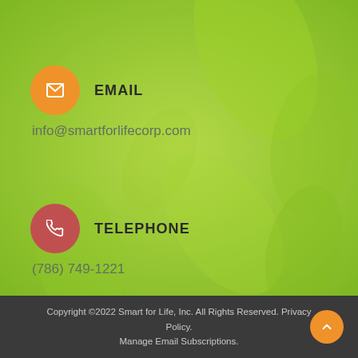[Figure (illustration): Green leafy blurred background image covering the upper 80% of the page]
EMAIL
info@smartforlifecorp.com
TELEPHONE
(786) 749-1221
ADDRESS
990 Biscayne Blvd., Suite 503 Miami, Florida 33132
Copyright ©2022 Smart for Life, Inc. All Rights Reserved. Privacy Policy.
Manage Email Subscriptions.